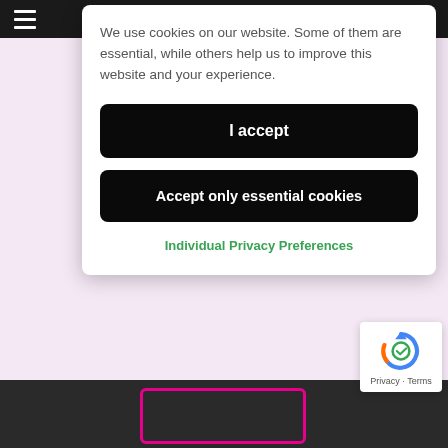We use cookies on our website. Some of them are essential, while others help us to improve this website and your experience.
I accept
Accept only essential cookies
Individual Privacy Preferences
[Figure (other): reCAPTCHA badge with circular arrow icon and 'Privacy - Terms' text]